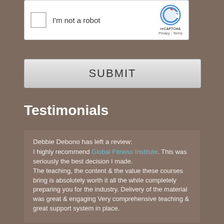[Figure (screenshot): reCAPTCHA widget with checkbox labeled 'I'm not a robot' and reCAPTCHA logo with Privacy and Terms links]
SUBMIT
Testimonials
Debbie Debono has left a review:
I highly recommend Global Fitness Institute. This was seriously the best decision I made.
The teaching, the content & the value these courses bring is absolutely worth it all the while completely preparing you for the industry. Delivery of the material was great & engaging Very comprehensive teaching & great support system in place.